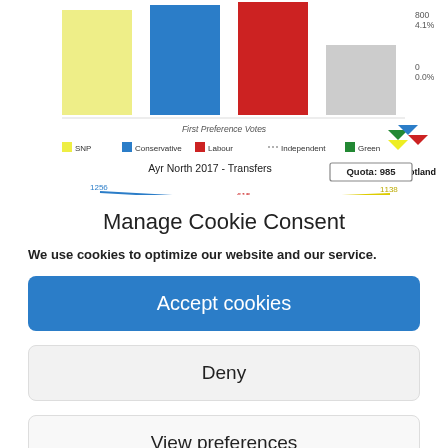[Figure (other): Partial bar chart and line chart from Ballot Box Scotland showing Ayr North 2017 election data with First Preference Votes and Transfers. Bar chart shows SNP (yellow), Conservative (blue), Labour (red), Independent (grey) bars. Line chart shows transfer counts with values 1256, 615, 1138. Legend includes SNP, Conservative, Labour, Independent, Green. Quota: 985 shown. Logo: Ballot Box Scotland.]
Manage Cookie Consent
We use cookies to optimize our website and our service.
Accept cookies
Deny
View preferences